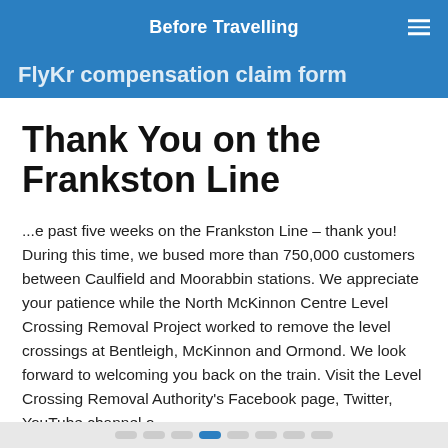Before Travelling
FlyKr compensation claim form
Thank You on the Frankston Line
...e past five weeks on the Frankston Line – thank you! During this time, we bused more than 750,000 customers between Caulfield and Moorabbin stations. We appreciate your patience while the North McKinnon Centre Level Crossing Removal Project worked to remove the level crossings at Bentleigh, McKinnon and Ormond. We look forward to welcoming you back on the train. Visit the Level Crossing Removal Authority's Facebook page, Twitter, YouTube channel o...